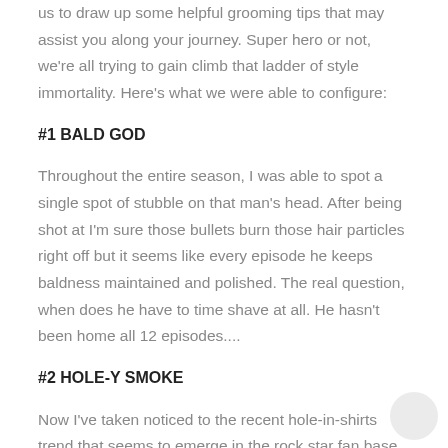us to draw up some helpful grooming tips that may assist you along your journey. Super hero or not, we're all trying to gain climb that ladder of style immortality. Here's what we were able to configure:
#1 BALD GOD
Throughout the entire season, I was able to spot a single spot of stubble on that man's head. After being shot at I'm sure those bullets burn those hair particles right off but it seems like every episode he keeps baldness maintained and polished. The real question, when does he have to time shave at all. He hasn't been home all 12 episodes....
#2 HOLE-Y SMOKE
Now I've taken noticed to the recent hole-in-shirts trend that seems to emerge in the rock star fan base but Luke